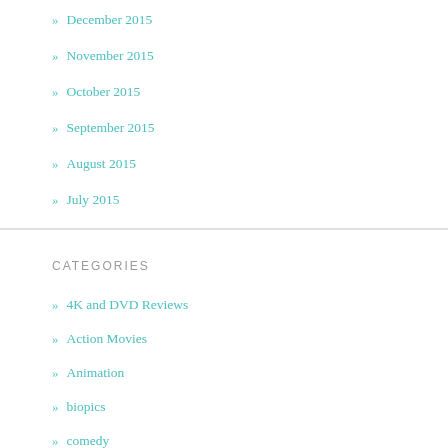» December 2015
» November 2015
» October 2015
» September 2015
» August 2015
» July 2015
CATEGORIES
» 4K and DVD Reviews
» Action Movies
» Animation
» biopics
» comedy
» comic book movies